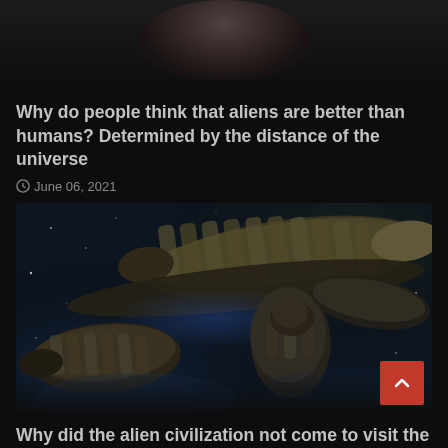[Figure (photo): Dark top image showing a partial figure, likely a person or alien silhouette against a dark background]
Why do people think that aliens are better than humans? Determined by the distance of the universe
June 06, 2021
[Figure (illustration): Dark science fiction illustration showing large alien spaceships or biomechanical vessels in space, with a figure in the center]
Why did the alien civilization not come to visit the earth? Scientists say: the cost of visiting the earth is too high